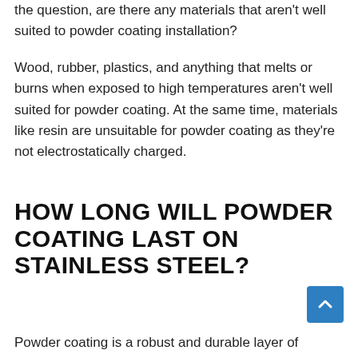the question, are there any materials that aren't well suited to powder coating installation?
Wood, rubber, plastics, and anything that melts or burns when exposed to high temperatures aren't well suited for powder coating. At the same time, materials like resin are unsuitable for powder coating as they're not electrostatically charged.
HOW LONG WILL POWDER COATING LAST ON STAINLESS STEEL?
Powder coating is a robust and durable layer of